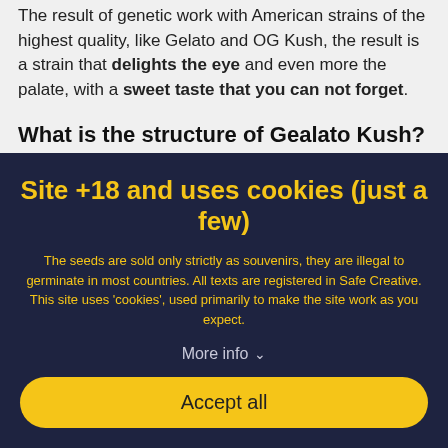The result of genetic work with American strains of the highest quality, like Gelato and OG Kush, the result is a strain that delights the eye and even more the palate, with a sweet taste that you can not forget.
What is the structure of Gealato Kush?
Gealato Kush is a fast-growing and vigorous strain, with a medium size and a balanced structure between Indica and Sativa. It is a plant that has dense buds and that, at the end of flowering and with a little cold, will present some incredible purple tones
Site +18 and uses cookies (just a few)
The seeds are sold only strictly as souvenirs, they are illegal to germinate in most countries. All texts are registered in Safe Creative. This site uses 'cookies', used primarily to make the site work as you expect.
More info
Accept all